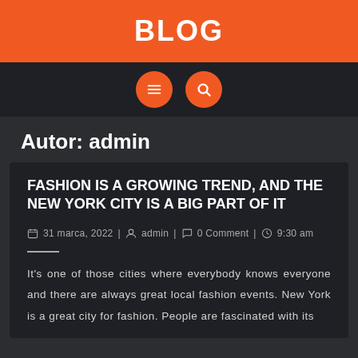BLOG
Autor: admin
FASHION IS A GROWING TREND, AND THE NEW YORK CITY IS A BIG PART OF IT
31 marca, 2022 | admin | 0 Comment | 9:30 am
It's one of those cities where everybody knows everyone and there are always great local fashion events. New York is a great city for fashion. People are fascinated with its